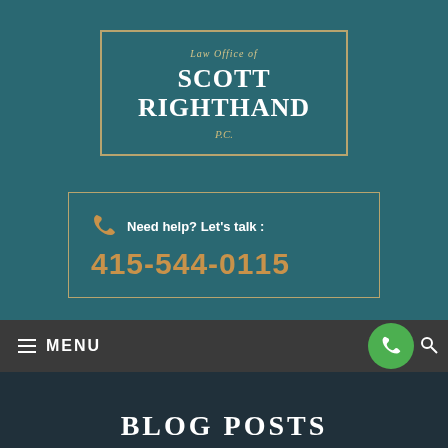[Figure (logo): Law Office of Scott Righthand P.C. logo in a bordered box on teal background]
Need help? Let's talk : 415-544-0115
MENU
BLOG POSTS